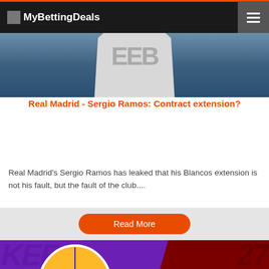MyBettingDeals
[Figure (photo): Soccer player in white Real Madrid jersey]
Real Madrid - Sergio Ramos: Contract extension?
Real Madrid's Sergio Ramos has leaked that his Blancos extension is not his fault, but the fault of the club....
Read More
[Figure (photo): Los Angeles Lakers vs Miami Heat logos on purple and red background]